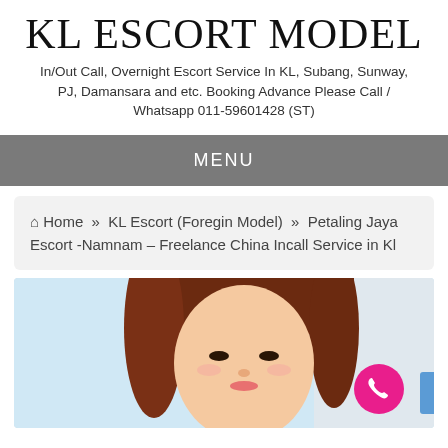KL ESCORT MODEL
In/Out Call, Overnight Escort Service In KL, Subang, Sunway, PJ, Damansara and etc. Booking Advance Please Call / Whatsapp 011-59601428 (ST)
MENU
🏠 Home » KL Escort (Foregin Model) » Petaling Jaya Escort -Namnam – Freelance China Incall Service in Kl
[Figure (photo): Photo of a young woman with brown hair against a light background]